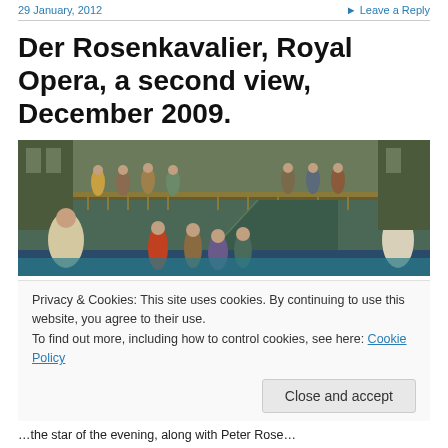29 January, 2012   ► Leave a Reply
Der Rosenkavalier, Royal Opera, a second view, December 2009.
[Figure (photo): Opera stage scene showing elaborately costumed performers in an ornate set with a balcony staircase and many cast members on stage]
Privacy & Cookies: This site uses cookies. By continuing to use this website, you agree to their use.
To find out more, including how to control cookies, see here: Cookie Policy
Close and accept
...the star of the evening, along with Peter Rose...